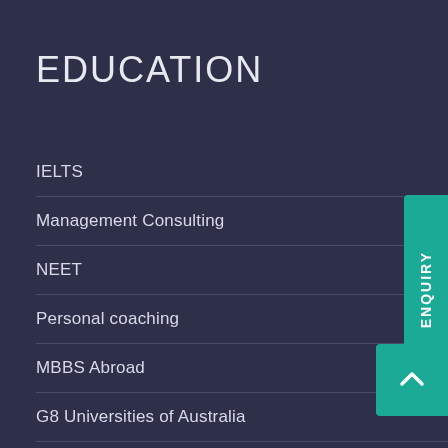EDUCATION
IELTS
Management Consulting
NEET
Personal coaching
MBBS Abroad
G8 Universities of Australia
USMLE
TOEFL Exam